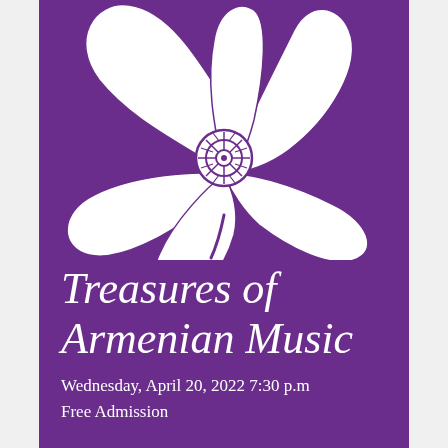[Figure (illustration): Large white poppy flower silhouette on purple background, with detailed center showing stamens and pistil, and a stem curling downward]
Treasures of Armenian Music
Wednesday, April 20, 2022 7:30 p.m
Free Admission